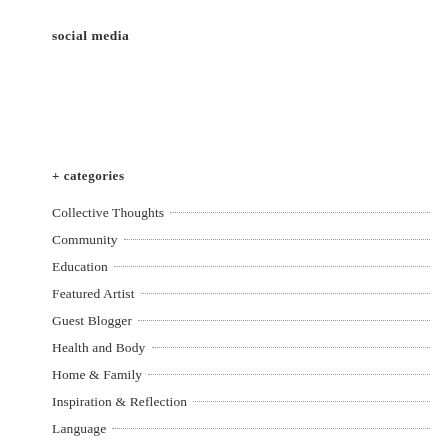social media
+ categories
Collective Thoughts
Community
Education
Featured Artist
Guest Blogger
Health and Body
Home & Family
Inspiration & Reflection
Language